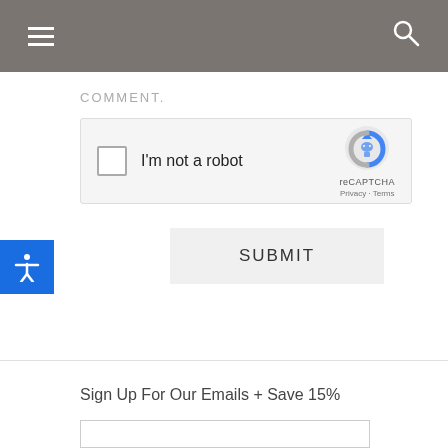Navigation bar with hamburger menu and search icon
COMMENT.
[Figure (screenshot): reCAPTCHA widget with checkbox labeled 'I'm not a robot' and reCAPTCHA logo with Privacy and Terms links]
SUBMIT
[Figure (illustration): Accessibility icon (human figure with arms outstretched) on blue background]
Sign Up For Our Emails + Save 15%